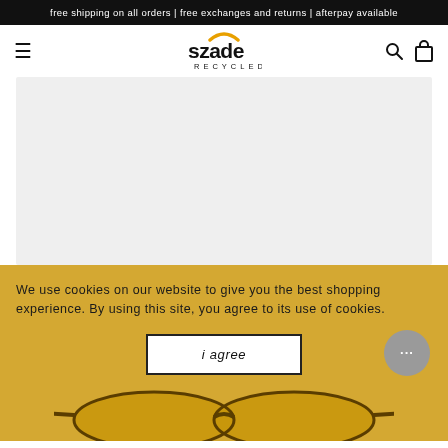free shipping on all orders | free exchanges and returns | afterpay available
[Figure (logo): Szade Recycled brand logo with orange sun accent above letters]
[Figure (photo): Light gray product image area (loading/blank)]
We use cookies on our website to give you the best shopping experience. By using this site, you agree to its use of cookies.
i agree